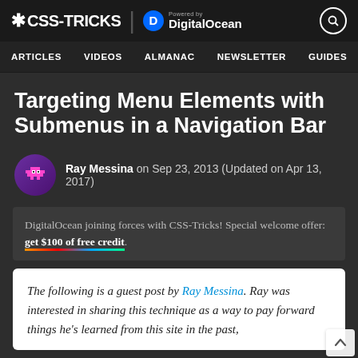* CSS-TRICKS | Powered by DigitalOcean
ARTICLES  VIDEOS  ALMANAC  NEWSLETTER  GUIDES  DIGITALOC
Targeting Menu Elements with Submenus in a Navigation Bar
Ray Messina on Sep 23, 2013 (Updated on Apr 13, 2017)
DigitalOcean joining forces with CSS-Tricks! Special welcome offer: get $100 of free credit.
The following is a guest post by Ray Messina. Ray was interested in sharing this technique as a way to pay forward things he's learned from this site in the past,